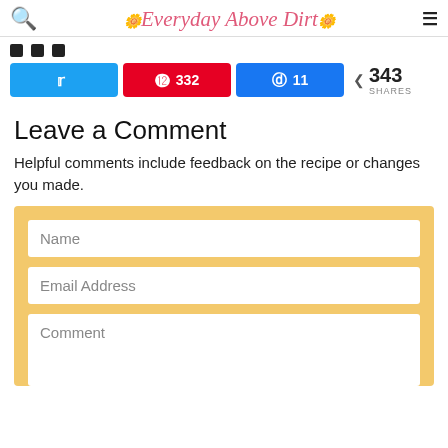Everyday Above Dirt
[Figure (screenshot): Social share buttons: Twitter (blue), Pinterest (red, 332), Facebook (blue, 11), and total share count 343 SHARES]
Leave a Comment
Helpful comments include feedback on the recipe or changes you made.
[Figure (screenshot): Comment form with fields: Name, Email Address, Comment on a yellow/tan background]